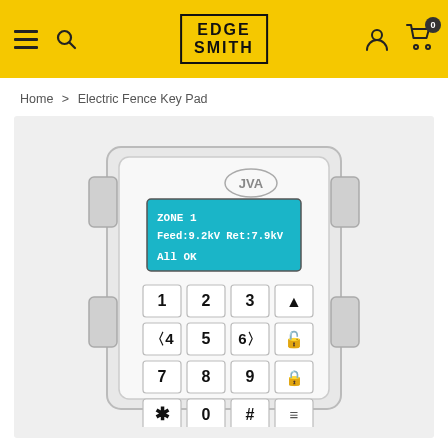EdgeSmith — navigation header with logo, menu, search, account, and cart icons
Home > Electric Fence Key Pad
[Figure (photo): JVA brand electric fence keypad device with LCD screen showing 'ZONE 1 Feed:9.2kV Ret:7.9kV All OK' and numeric keypad with keys 1-9, *, 0, #, and function keys including arrow up, lock/unlock, lock, and menu buttons. The device has a white/clear plastic enclosure with side mounting brackets.]